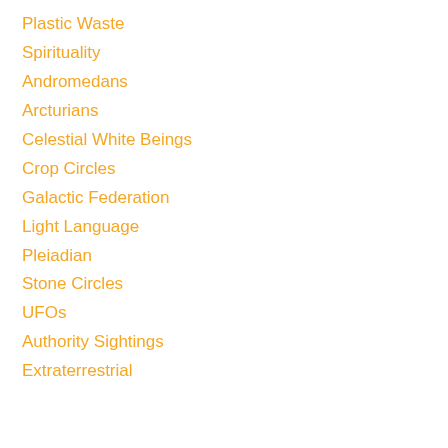Plastic Waste
Spirituality
Andromedans
Arcturians
Celestial White Beings
Crop Circles
Galactic Federation
Light Language
Pleiadian
Stone Circles
UFOs
Authority Sightings
Extraterrestrial